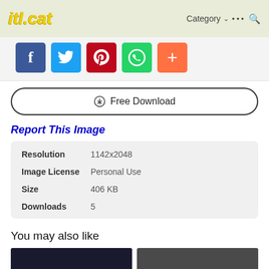itl.cat   Category ... (search)
[Figure (screenshot): Social sharing icons: Facebook (blue), Twitter (light blue), Pinterest (red), WhatsApp (green), More (orange-red)]
Free Download
Report This Image
| Field | Value |
| --- | --- |
| Resolution | 1142x2048 |
| Image License | Personal Use |
| Size | 406 KB |
| Downloads | 5 |
You may also like